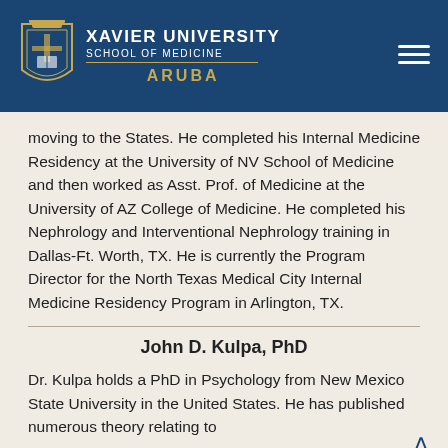Xavier University School of Medicine Aruba
moving to the States. He completed his Internal Medicine Residency at the University of NV School of Medicine and then worked as Asst. Prof. of Medicine at the University of AZ College of Medicine. He completed his Nephrology and Interventional Nephrology training in Dallas-Ft. Worth, TX. He is currently the Program Director for the North Texas Medical City Internal Medicine Residency Program in Arlington, TX.
John D. Kulpa, PhD
Dr. Kulpa holds a PhD in Psychology from New Mexico State University in the United States. He has published numerous theory relating to...